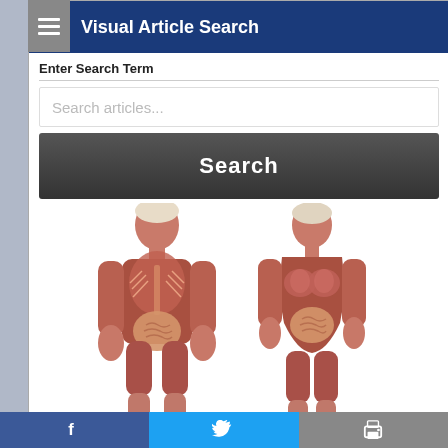Visual Article Search
Enter Search Term
Search articles...
Search
[Figure (illustration): Two anatomical human body illustrations showing male and female figures with visible muscles and internal organs, front view.]